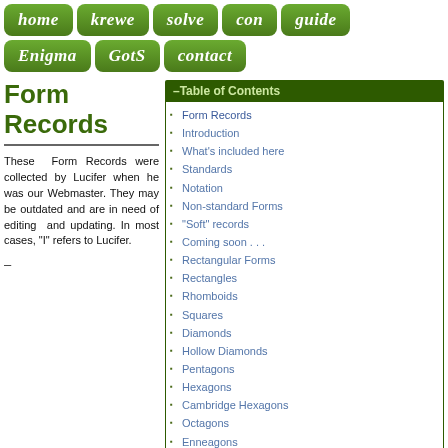home | krewe | solve | con | guide | Enigma | GotS | contact
Form Records
These Form Records were collected by Lucifer when he was our Webmaster. They may be outdated and are in need of editing and updating. In most cases, "I" refers to Lucifer.
| Table of Contents |
| --- |
| Form Records |
| Introduction |
| What's included here |
| Standards |
| Notation |
| Non-standard Forms |
| "Soft" records |
| Coming soon . . . |
| Rectangular Forms |
| Rectangles |
| Rhomboids |
| Squares |
| Diamonds |
| Hollow Diamonds |
| Pentagons |
| Hexagons |
| Cambridge Hexagons |
| Octagons |
| Enneagons |
| Halfsquares |
| Lattices |
| Pygmy Hourglasses |
| Pyramids |
| Windmills |
| Consonantless and vowelless |